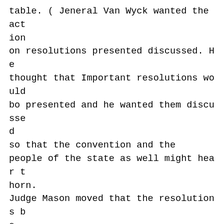table. ( Jeneral Van Wyck wanted the action on resolutions presented discussed. He thought that Important resolutions would bo presented and he wanted them discussed so that the convention and the people of the state as well might hear thorn. Judge Mason moved that the resolutions be read and referred and resolutions going to ho convention bo reported back with their iction on the same. This was adopted. Mr. Viilentine , of Cutnlng. moved that time be